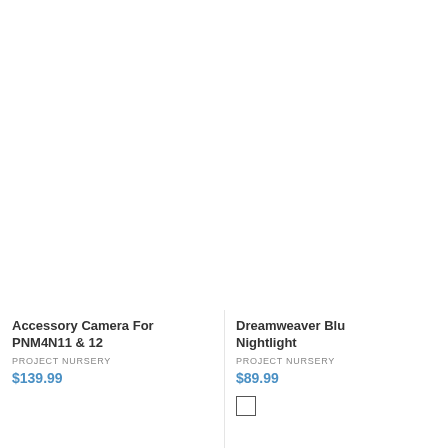Accessory Camera For PNM4N11 & 12
PROJECT NURSERY
$139.99
Dreamweaver Blu Nightlight
PROJECT NURSERY
$89.99